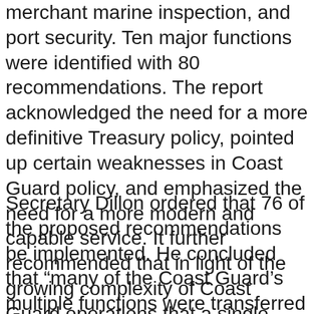merchant marine inspection, and port security. Ten major functions were identified with 80 recommendations. The report acknowledged the need for a more definitive Treasury policy, pointed up certain weaknesses in Coast Guard policy, and emphasized the need for a more modern and capable service. It further recommended that in light of the growing complexity of Coast Guard operations that a single long-range plan be developed.
Secretary Dillon ordered that 76 of the proposed recommendations be implemented. He concluded that “many of the Coast Guard’s multiple functions were transferred to it during national emergencies under the hard logic of expediency; there was nobody else who could do